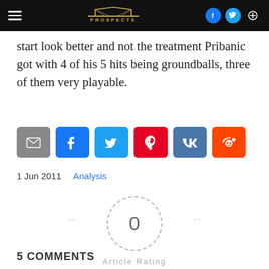Prospects (navigation bar with logo, hamburger, social icons, search)
start look better and not the treatment Pribanic got with 4 of his 5 hits being groundballs, three of them very playable.
[Figure (infographic): Row of social share buttons: email (grey), Facebook (blue), Twitter (light blue), Pinterest (red), VK (dark blue), Reddit (orange)]
1 Jun 2011    Analysis
[Figure (infographic): Article rating widget showing 0 votes, dashed circle with 0 in center, Article Rating label, and 5 empty grey stars]
5 COMMENTS